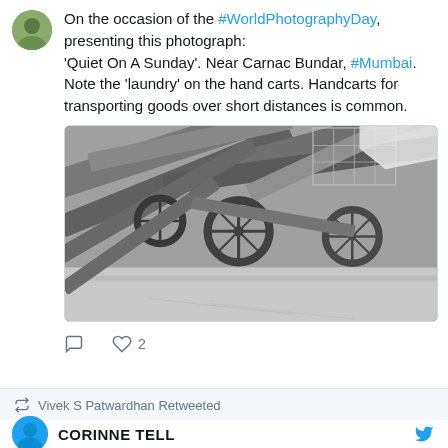[Figure (illustration): Circular avatar icon with green/olive tones representing a profile picture]
On the occasion of the #WorldPhotographyDay, presenting this photograph: 'Quiet On A Sunday'. Near Carnac Bundar, #Mumbai. Note the 'laundry' on the hand carts. Handcarts for transporting goods over short distances is common.
[Figure (photo): Black and white photograph of hand carts piled together near Carnac Bundar, Mumbai, with visible wheels and wooden frames; laundry items visible on some carts]
2 likes
Vivek S Patwardhan Retweeted
CORINNE TELL